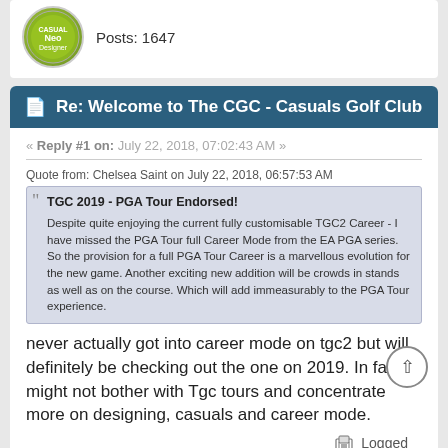Posts: 1647
Re: Welcome to The CGC - Casuals Golf Club
« Reply #1 on: July 22, 2018, 07:02:43 AM »
Quote from: Chelsea Saint on July 22, 2018, 06:57:53 AM
TGC 2019 - PGA Tour Endorsed!

Despite quite enjoying the current fully customisable TGC2 Career - I have missed the PGA Tour full Career Mode from the EA PGA series. So the provision for a full PGA Tour Career is a marvellous evolution for the new game. Another exciting new addition will be crowds in stands as well as on the course. Which will add immeasurably to the PGA Tour experience.
never actually got into career mode on tgc2 but will definitely be checking out the one on 2019. In fact I might not bother with Tgc tours and concentrate more on designing, casuals and career mode.
Logged